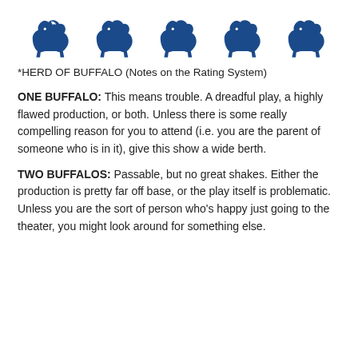[Figure (illustration): Five dark blue buffalo/bison silhouettes in a row]
*HERD OF BUFFALO (Notes on the Rating System)
ONE BUFFALO: This means trouble. A dreadful play, a highly flawed production, or both. Unless there is some really compelling reason for you to attend (i.e. you are the parent of someone who is in it), give this show a wide berth.
TWO BUFFALOS: Passable, but no great shakes. Either the production is pretty far off base, or the play itself is problematic. Unless you are the sort of person who's happy just going to the theater, you might look around for something else.